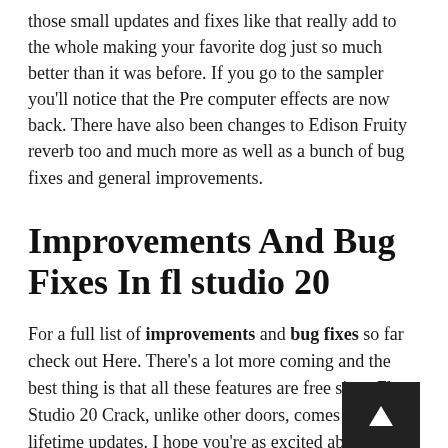those small updates and fixes like that really add to the whole making your favorite dog just so much better than it was before. If you go to the sampler you'll notice that the Pre computer effects are now back. There have also been changes to Edison Fruity reverb too and much more as well as a bunch of bug fixes and general improvements.
Improvements And Bug Fixes In fl studio 20
For a full list of improvements and bug fixes so far check out Here. There's a lot more coming and the best thing is that all these features are free since Fl Studio 20 Crack, unlike other doors, comes with lifetime updates. I hope you're as excited about new features as I am. I'm curious though what kind of features are they going to create to me. What would